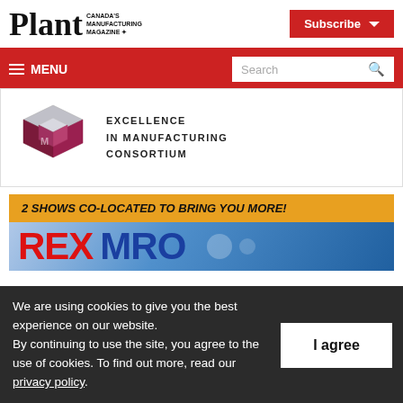Plant — Canada's Manufacturing Magazine
Subscribe
≡ MENU
Search
[Figure (logo): Excellence in Manufacturing Consortium (EMC) logo — geometric cube mark in silver and dark red with text EXCELLENCE IN MANUFACTURING CONSORTIUM]
[Figure (infographic): Advertisement banner: '2 SHOWS CO-LOCATED TO BRING YOU MORE!' in orange/yellow header, followed by large red and blue text reading REX MRO on gradient blue background]
We are using cookies to give you the best experience on our website.
By continuing to use the site, you agree to the use of cookies. To find out more, read our privacy policy.
I agree